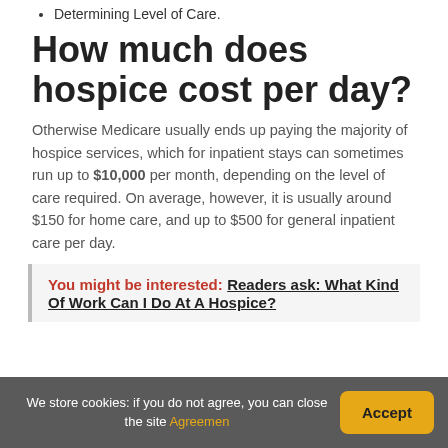Determining Level of Care.
How much does hospice cost per day?
Otherwise Medicare usually ends up paying the majority of hospice services, which for inpatient stays can sometimes run up to $10,000 per month, depending on the level of care required. On average, however, it is usually around $150 for home care, and up to $500 for general inpatient care per day.
You might be interested: Readers ask: What Kind Of Work Can I Do At A Hospice?
We store cookies: if you do not agree, you can close the site Agreemen